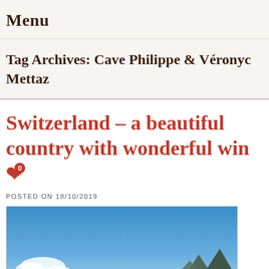Menu
Tag Archives: Cave Philippe & Véronyc Mettaz
Switzerland – a beautiful country with wonderful win❤ 0
POSTED ON 18/10/2019
[Figure (photo): Landscape photo showing blue sky with clouds and mountains in the background]